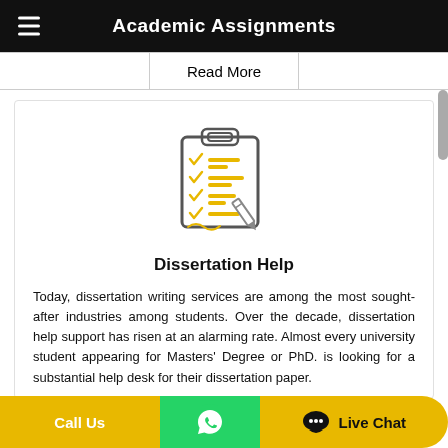Academic Assignments
|  | Read More |  |
| --- | --- | --- |
|  | Read More |  |
[Figure (illustration): Clipboard with checklist and pencil icon, yellow and gray colors]
Dissertation Help
Today, dissertation writing services are among the most sought-after industries among students. Over the decade, dissertation help support has risen at an alarming rate. Almost every university student appearing for Masters' Degree or PhD. is looking for a substantial help desk for their dissertation paper.
Call Us | [WhatsApp icon] | Live Chat